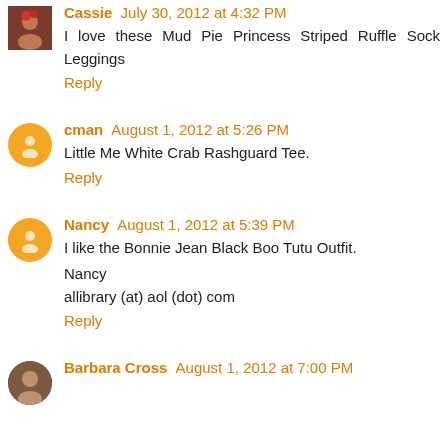Cassie July 30, 2012 at 4:32 PM
I love these Mud Pie Princess Striped Ruffle Sock Leggings
Reply
cman August 1, 2012 at 5:26 PM
Little Me White Crab Rashguard Tee.
Reply
Nancy August 1, 2012 at 5:39 PM
I like the Bonnie Jean Black Boo Tutu Outfit.
Nancy
allibrary (at) aol (dot) com
Reply
Barbara Cross August 1, 2012 at 7:00 PM